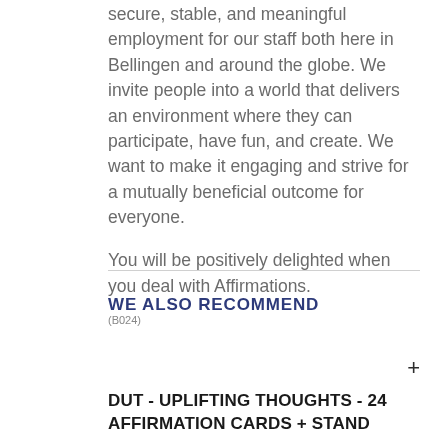secure, stable, and meaningful employment for our staff both here in Bellingen and around the globe. We invite people into a world that delivers an environment where they can participate, have fun, and create. We want to make it engaging and strive for a mutually beneficial outcome for everyone.

You will be positively delighted when you deal with Affirmations.
(B024)
WE ALSO RECOMMEND
DUT - UPLIFTING THOUGHTS - 24 AFFIRMATION CARDS + STAND